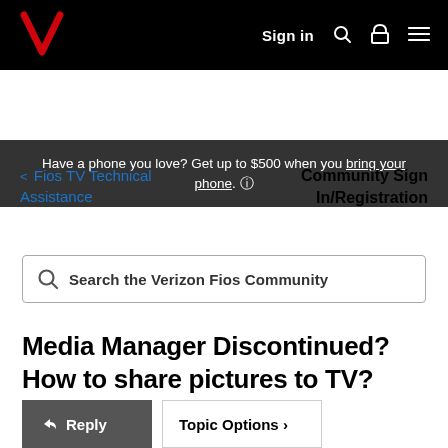Sign in
Have a phone you love? Get up to $500 when you bring your phone. ℹ
< Fios TV Technical Assistance
Community Sign In/Registration
Search the Verizon Fios Community
Media Manager Discontinued? How to share pictures to TV?
Reply   Topic Options